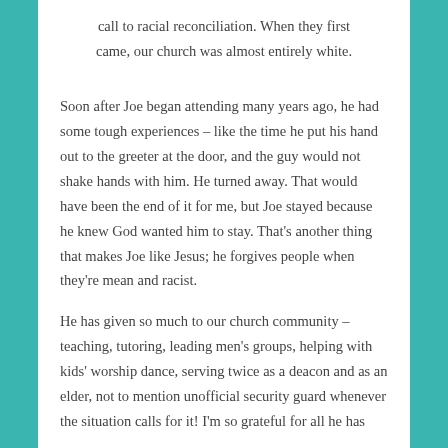call to racial reconciliation. When they first came, our church was almost entirely white.
Soon after Joe began attending many years ago, he had some tough experiences – like the time he put his hand out to the greeter at the door, and the guy would not shake hands with him. He turned away. That would have been the end of it for me, but Joe stayed because he knew God wanted him to stay. That's another thing that makes Joe like Jesus; he forgives people when they're mean and racist.
He has given so much to our church community – teaching, tutoring, leading men's groups, helping with kids' worship dance, serving twice as a deacon and as an elder, not to mention unofficial security guard whenever the situation calls for it! I'm so grateful for all he has